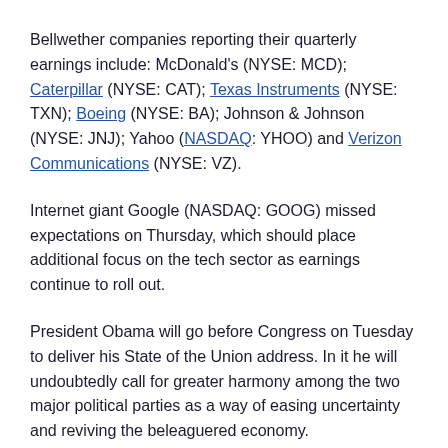Bellwether companies reporting their quarterly earnings include: McDonald's (NYSE: MCD); Caterpillar (NYSE: CAT); Texas Instruments (NYSE: TXN); Boeing (NYSE: BA); Johnson & Johnson (NYSE: JNJ); Yahoo (NASDAQ: YHOO) and Verizon Communications (NYSE: VZ).
Internet giant Google (NASDAQ: GOOG) missed expectations on Thursday, which should place additional focus on the tech sector as earnings continue to roll out.
President Obama will go before Congress on Tuesday to deliver his State of the Union address. In it he will undoubtedly call for greater harmony among the two major political parties as a way of easing uncertainty and reviving the beleaguered economy.